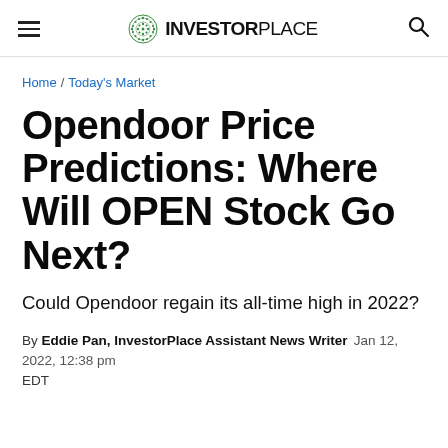INVESTORPLACE
Home / Today's Market
Opendoor Price Predictions: Where Will OPEN Stock Go Next?
Could Opendoor regain its all-time high in 2022?
By Eddie Pan, InvestorPlace Assistant News Writer  Jan 12, 2022, 12:38 pm EDT